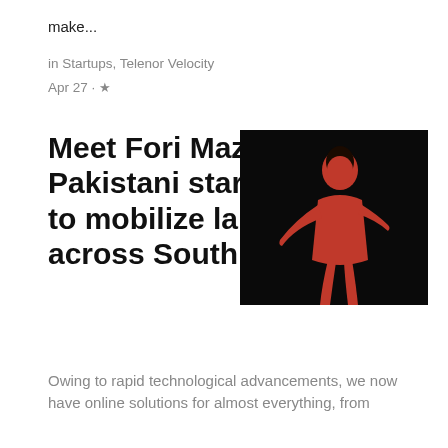make...
in Startups, Telenor Velocity
Apr 27 · ★
Meet Fori Mazdoori, a Pakistani startup aiming to mobilize laborers across South Asia
[Figure (photo): Person wearing red outfit against dark background]
Owing to rapid technological advancements, we now have online solutions for almost everything, from